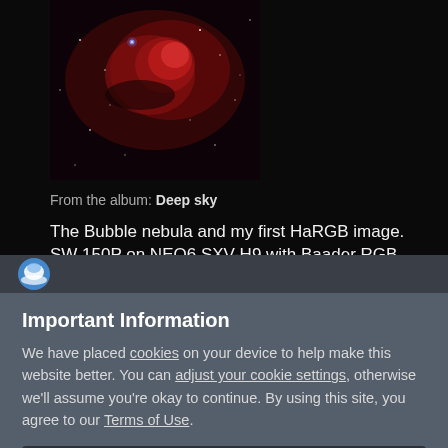[Figure (photo): Astrophotography image of the Bubble Nebula — deep red nebula with stars on dark background]
From the album: Deep sky
The Bubble nebula and my first HaRGB image. SW 150P on NEQ6 SXV-H9 with Baader RGB and 7nm Ha filters + SW
August 20, 2012  bubble nebula  hargb
Important Information
We have placed cookies on your device to help make this website better. You can adjust your cookie settings, otherwise we'll assume you're okay to continue. By using this site, you agree to our Terms of Use.
✓  I accept